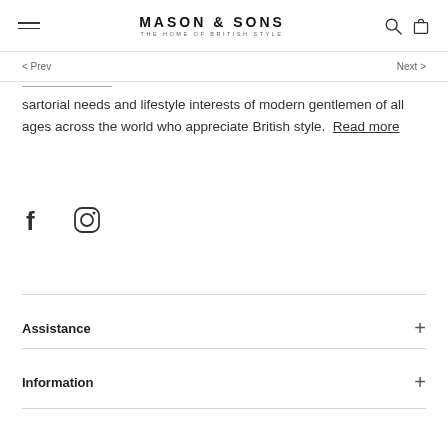MASON & SONS — THE HOME OF BRITISH STYLE
< Prev    Next >
sartorial needs and lifestyle interests of modern gentlemen of all ages across the world who appreciate British style. Read more
[Figure (illustration): Facebook and Instagram social media icons]
Assistance +
Information +